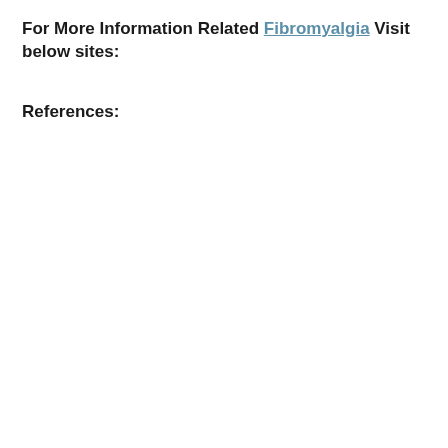For More Information Related Fibromyalgia Visit below sites:
References: